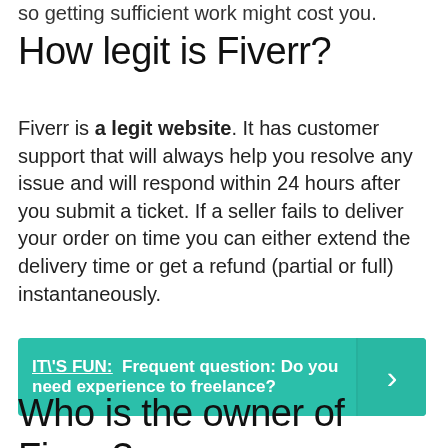so getting sufficient work might cost you.
How legit is Fiverr?
Fiverr is a legit website. It has customer support that will always help you resolve any issue and will respond within 24 hours after you submit a ticket. If a seller fails to deliver your order on time you can either extend the delivery time or get a refund (partial or full) instantaneously.
IT\'S FUN:  Frequent question: Do you need experience to freelance?
Who is the owner of Fiverr?